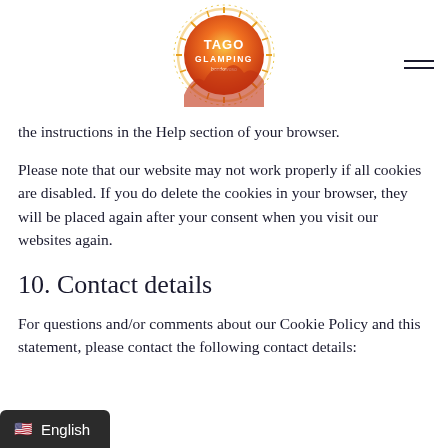[Figure (logo): Tago Glamping logo: circular sun design with orange/gradient circle and white text 'TAGO GLAMPING' in center]
the instructions in the Help section of your browser.
Please note that our website may not work properly if all cookies are disabled. If you do delete the cookies in your browser, they will be placed again after your consent when you visit our websites again.
10. Contact details
For questions and/or comments about our Cookie Policy and this statement, please contact the following contact details: